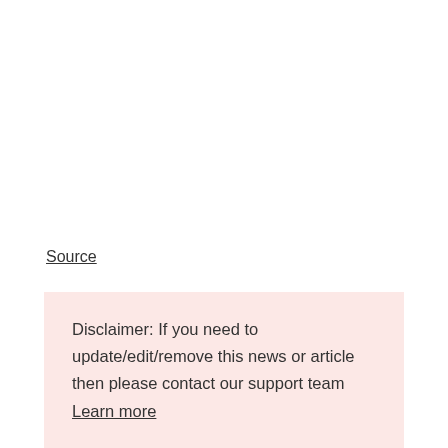Source
Disclaimer: If you need to update/edit/remove this news or article then please contact our support team Learn more